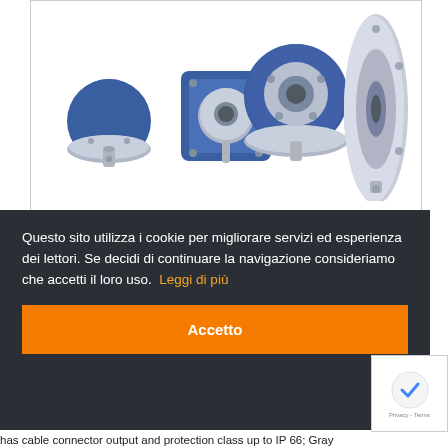[Figure (photo): Four industrial rotary encoders with blue housings and silver metal mounting flanges/faces, arranged in a row. They vary in size from small cylindrical to large disc-shaped units.]
Questo sito utilizza i cookie per migliorare servizi ed esperienza dei lettori. Se decidi di continuare la navigazione consideriamo che accetti il loro uso.  Leggi di più
Accetto
has cable connector output and protection class up to IP 66; Gray